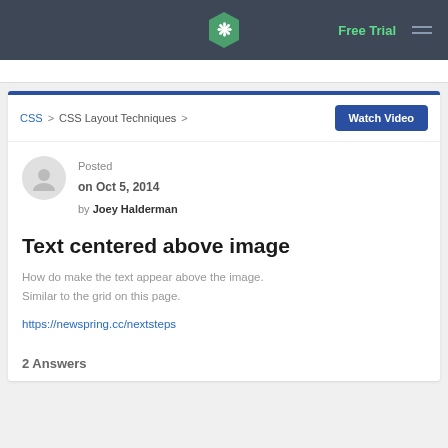Free Trial
CSS > CSS Layout Techniques >
Watch Video
Posted
on Oct 5, 2014
by Joey Halderman
Text centered above image
How do make the text appear above the image. Similar to the grid on this page.
https://newspring.cc/nextsteps
2 Answers